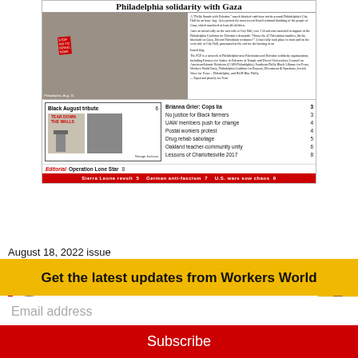[Figure (screenshot): Newspaper front page screenshot showing Philadelphia solidarity with Gaza rally photo and table of contents]
August 18, 2022 issue
Past issues
Categories
Get the latest updates from Workers World
Email address
Subscribe